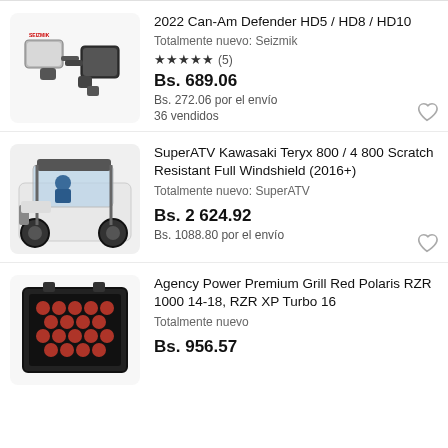[Figure (photo): Side mirrors for Can-Am Defender UTV, black, with SEIZMIK brand logo]
2022 Can-Am Defender HD5 / HD8 / HD10
Totalmente nuevo: Seizmik
★★★★★ (5)
Bs. 689.06
Bs. 272.06 por el envío
36 vendidos
[Figure (photo): SuperATV Kawasaki Teryx UTV with full windshield installed, driver visible inside]
SuperATV Kawasaki Teryx 800 / 4 800 Scratch Resistant Full Windshield (2016+)
Totalmente nuevo: SuperATV
Bs. 2 624.92
Bs. 1088.80 por el envío
[Figure (photo): Agency Power red premium grill for Polaris RZR, honeycomb pattern visible]
Agency Power Premium Grill Red Polaris RZR 1000 14-18, RZR XP Turbo 16
Totalmente nuevo
Bs. 956.57